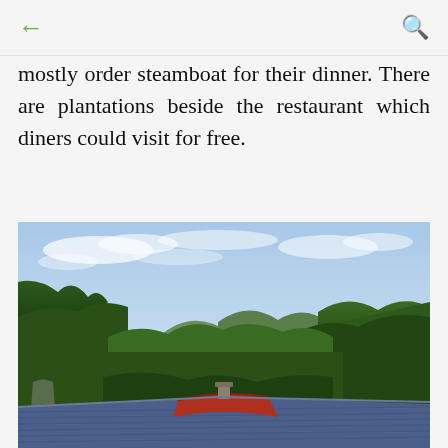← (back) | (search)
mostly order steamboat for their dinner. There are plantations beside the restaurant which diners could visit for free.
[Figure (photo): Outdoor landscape photo showing a scenic view of green forested hills and mountains under a partly cloudy blue sky, with rooftops of buildings (blue corrugated metal roof and red roof) visible in the foreground bottom.]